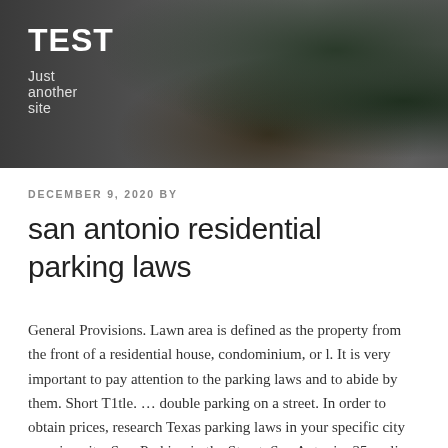[Figure (photo): Website header banner showing potted plants on a dark background with blurred interior setting]
TEST
Just another site
DECEMBER 9, 2020 BY
san antonio residential parking laws
General Provisions. Lawn area is defined as the property from the front of a residential house, condominium, or l. It is very important to pay attention to the parking laws and to abide by them. Short T1tle. ... double parking on a street. In order to obtain prices, research Texas parking laws in your specific city or university. Sec. Parking in the Street, San Antonio, 35 replies parking distance firehydrant on private residential property, San Antonio, 15 replies Does your neighborhood ban or limit parking in